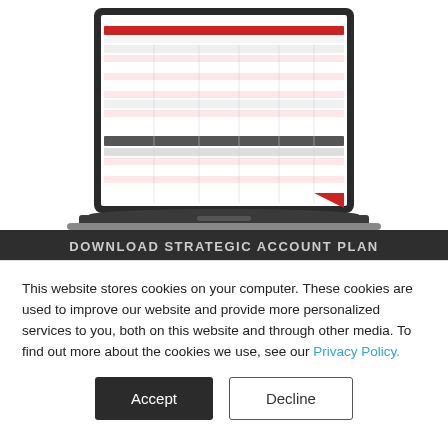[Figure (screenshot): A laptop computer displaying a spreadsheet/table document with red header rows and a 'CLIENT ANNUAL ACCOUNT' style report visible on screen. The laptop is shown in a front-facing perspective on a white background.]
This website stores cookies on your computer. These cookies are used to improve our website and provide more personalized services to you, both on this website and through other media. To find out more about the cookies we use, see our Privacy Policy.
Accept
Decline